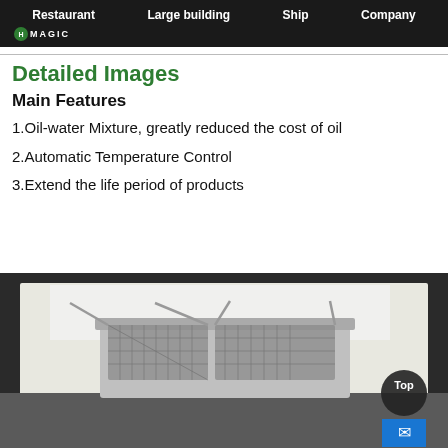Restaurant  Large building  Ship  Company
HOMAGIC
Detailed Images
Main Features
1.Oil-water Mixture, greatly reduced the cost of oil
2.Automatic Temperature Control
3.Extend the life period of products
[Figure (photo): Commercial deep fryer with multiple stainless steel wire mesh baskets shown from above at an angle, placed on a countertop in a kitchen environment]